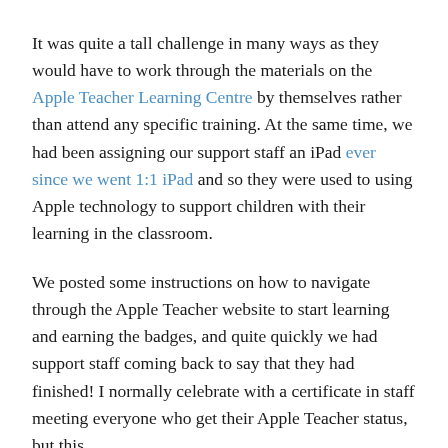It was quite a tall challenge in many ways as they would have to work through the materials on the Apple Teacher Learning Centre by themselves rather than attend any specific training. At the same time, we had been assigning our support staff an iPad ever since we went 1:1 iPad and so they were used to using Apple technology to support children with their learning in the classroom.
We posted some instructions on how to navigate through the Apple Teacher website to start learning and earning the badges, and quite quickly we had support staff coming back to say that they had finished! I normally celebrate with a certificate in staff meeting everyone who get their Apple Teacher status, but this